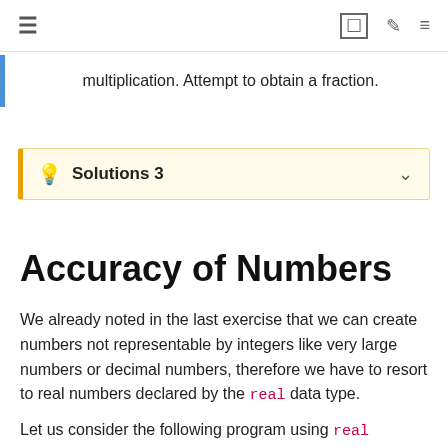≡  [toolbar icons]
multiplication. Attempt to obtain a fraction.
💡 Solutions 3
Accuracy of Numbers
We already noted in the last exercise that we can create numbers not representable by integers like very large numbers or decimal numbers, therefore we have to resort to real numbers declared by the real data type.
Let us consider the following program using real variables